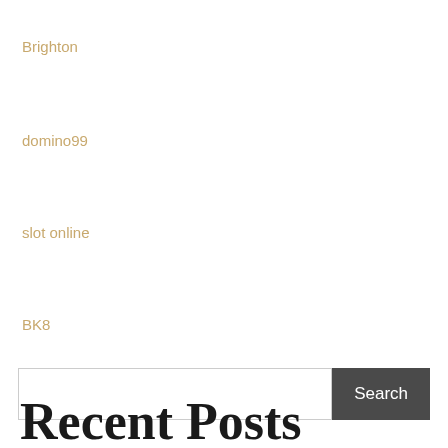Brighton
domino99
slot online
BK8
Search
Recent Posts